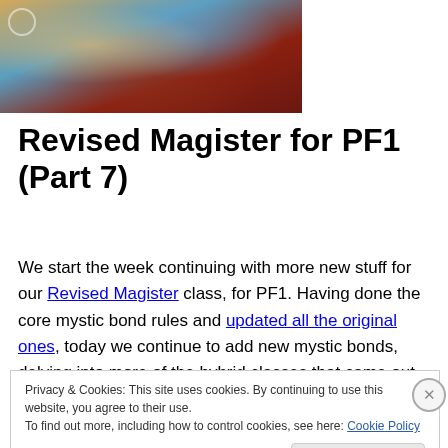[Figure (illustration): Partial view of a painted illustration showing a robed figure with ornate golden details against a blue and red background, cropped at the top of the page.]
Revised Magister for PF1 (Part 7)
We start the week continuing with more new stuff for our Revised Magister class, for PF1. Having done the core mystic bond rules and updated all the original ones, today we continue to add new mystic bonds, delving into more of the hybrid classes that came out after the original magister
Privacy & Cookies: This site uses cookies. By continuing to use this website, you agree to their use.
To find out more, including how to control cookies, see here: Cookie Policy